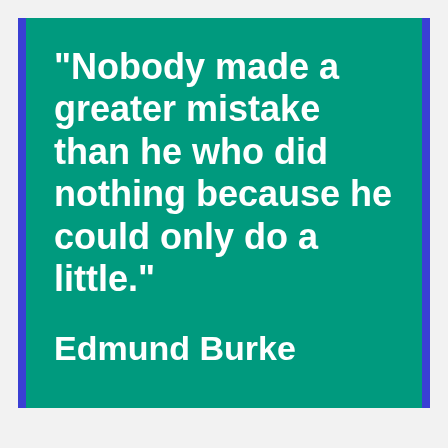"Nobody made a greater mistake than he who did nothing because he could only do a little."
Edmund Burke